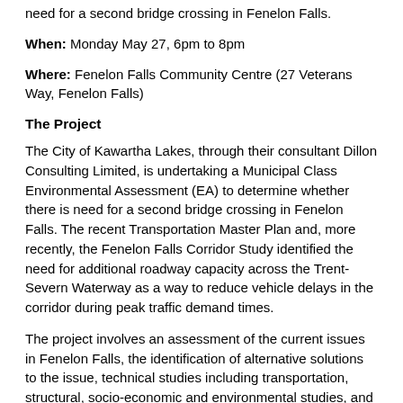need for a second bridge crossing in Fenelon Falls.
When: Monday May 27, 6pm to 8pm
Where: Fenelon Falls Community Centre (27 Veterans Way, Fenelon Falls)
The Project
The City of Kawartha Lakes, through their consultant Dillon Consulting Limited, is undertaking a Municipal Class Environmental Assessment (EA) to determine whether there is need for a second bridge crossing in Fenelon Falls. The recent Transportation Master Plan and, more recently, the Fenelon Falls Corridor Study identified the need for additional roadway capacity across the Trent-Severn Waterway as a way to reduce vehicle delays in the corridor during peak traffic demand times.
The project involves an assessment of the current issues in Fenelon Falls, the identification of alternative solutions to the issue, technical studies including transportation, structural, socio-economic and environmental studies, and public, stakeholder, agency and Indigenous community